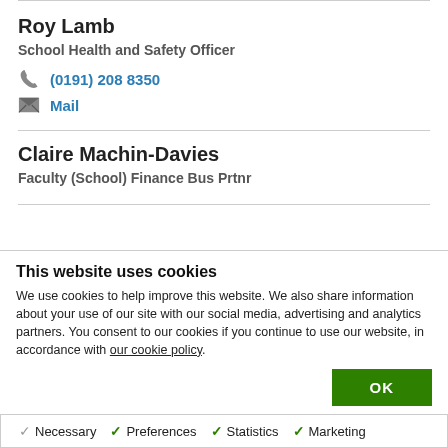Roy Lamb
School Health and Safety Officer
(0191) 208 8350
Mail
Claire Machin-Davies
Faculty (School) Finance Bus Prtnr
This website uses cookies
We use cookies to help improve this website. We also share information about your use of our site with our social media, advertising and analytics partners. You consent to our cookies if you continue to use our website, in accordance with our cookie policy.
OK
Necessary   Preferences   Statistics   Marketing